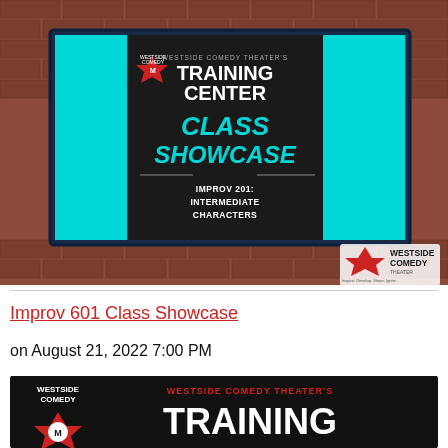[Figure (photo): Westside Comedy Theater Training Center Class Showcase sign — Improv 201: Intermediate Characters — shown on a black chalkboard-style sign with teal accents and cyan side panels, mounted on a brick wall background. Westside Comedy logo in bottom right.]
Improv 601 Class Showcase
on August 21, 2022 7:00 PM
[Figure (photo): Westside Comedy Theater Training Center sign showing the top portion with red/white logo on the left and 'WESTSIDE COMEDY THEATER'S TRAINING' text in red and white on a dark background.]